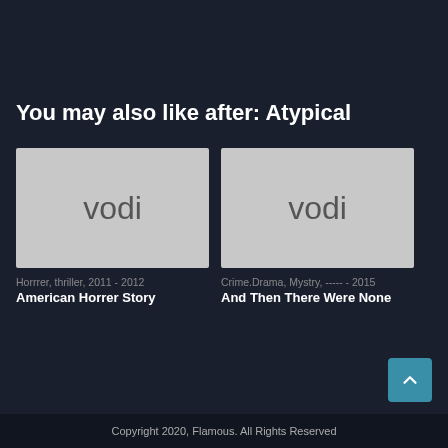You may also like after: Atypical
[Figure (screenshot): Vodi placeholder image for American Horrer Story]
Horrrer, thriller, 2011 - 2012
American Horrer Story
[Figure (screenshot): Vodi placeholder image for And Then There Were None]
Crime.Drama, Mystry, ----- - 2015
And Then There Were None
Copyright 2020, Flamous. All Rights Reserved